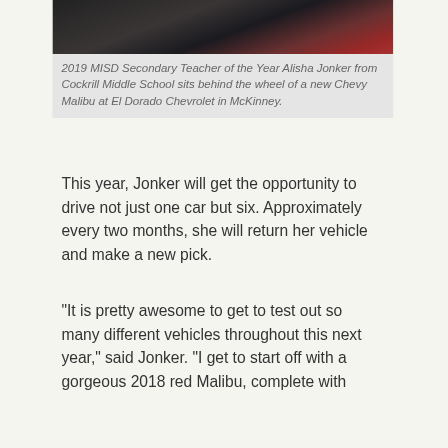[Figure (photo): Photo of 2019 MISD Secondary Teacher of the Year Alisha Jonker sitting behind the wheel of a new Chevy Malibu at El Dorado Chevrolet in McKinney. Partial view showing person in car interior with red vehicle exterior visible.]
2019 MISD Secondary Teacher of the Year Alisha Jonker from Cockrill Middle School sits behind the wheel of a new Chevy Malibu at El Dorado Chevrolet in McKinney.
This year, Jonker will get the opportunity to drive not just one car but six. Approximately every two months, she will return her vehicle and make a new pick.
"It is pretty awesome to get to test out so many different vehicles throughout this next year," said Jonker. "I get to start off with a gorgeous 2018 red Malibu, complete with